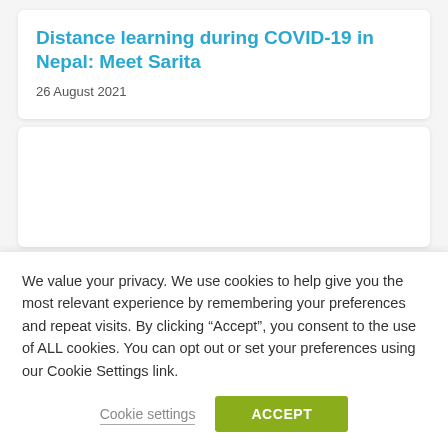Distance learning during COVID-19 in Nepal: Meet Sarita
26 August 2021
[Figure (other): Empty white card placeholder for an image]
We value your privacy. We use cookies to help give you the most relevant experience by remembering your preferences and repeat visits. By clicking “Accept”, you consent to the use of ALL cookies. You can opt out or set your preferences using our Cookie Settings link.
Cookie settings
ACCEPT